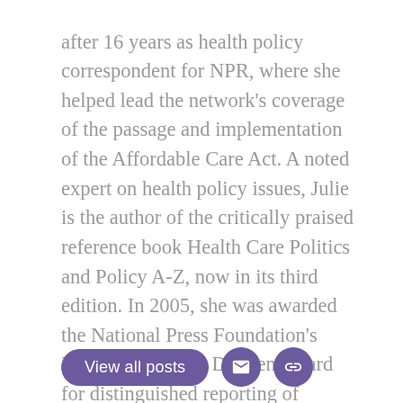after 16 years as health policy correspondent for NPR, where she helped lead the network's coverage of the passage and implementation of the Affordable Care Act. A noted expert on health policy issues, Julie is the author of the critically praised reference book Health Care Politics and Policy A-Z, now in its third edition. In 2005, she was awarded the National Press Foundation's Everett McKinley Dirksen Award for distinguished reporting of Congress. Prior to NPR, Julie covered health policy for National Journal's Congress Daily and for Congressional Quarterly, among other organizations.
View all posts [email icon] [link icon]